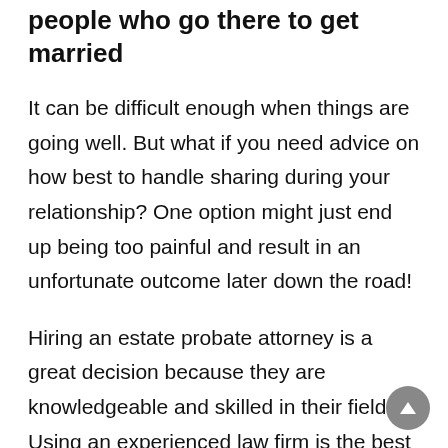A family court system is a tricky place for people who go there to get married
It can be difficult enough when things are going well. But what if you need advice on how best to handle sharing during your relationship? One option might just end up being too painful and result in an unfortunate outcome later down the road!
Hiring an estate probate attorney is a great decision because they are knowledgeable and skilled in their field. Using an experienced law firm is the best way to get fast service before things get complicated (or both). It will save you headaches when it's time to hire a legal